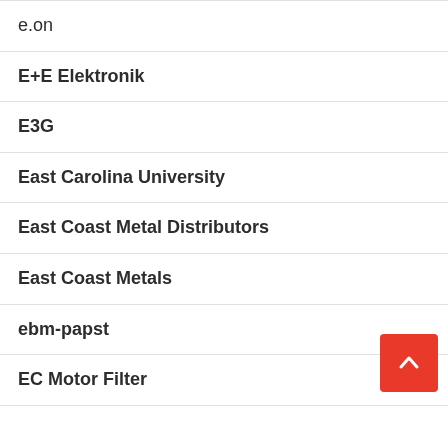e.on
E+E Elektronik
E3G
East Carolina University
East Coast Metal Distributors
East Coast Metals
ebm-papst
EC Motor Filter